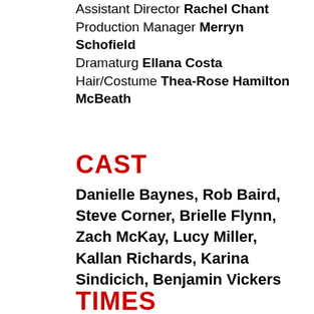Assistant Director Rachel Chant
Production Manager Merryn Schofield
Dramaturg Ellana Costa
Hair/Costume Thea-Rose Hamilton McBeath
CAST
Danielle Baynes, Rob Baird, Steve Corner, Brielle Flynn, Zach McKay, Lucy Miller, Kallan Richards, Karina Sindicich, Benjamin Vickers
TIMES